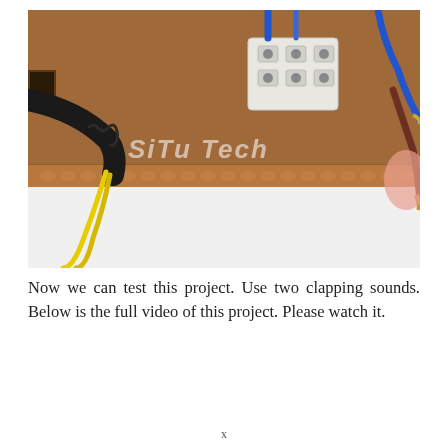[Figure (photo): Photo showing the back of a cardboard enclosure with electrical wiring. A black cable with yellow wires exits from the left side. A white plastic push-in wire connector block is mounted on the top surface, with blue wires connected. On the right side, bare copper wire ends of brown and blue wires are visible, held by a person's fingertip. The watermark 'SiTu Tech' is overlaid in white text on the image.]
Now we can test this project. Use two clapping sounds. Below is the full video of this project. Please watch it.
x